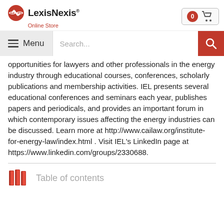LexisNexis Online Store
opportunities for lawyers and other professionals in the energy industry through educational courses, conferences, scholarly publications and membership activities. IEL presents several educational conferences and seminars each year, publishes papers and periodicals, and provides an important forum in which contemporary issues affecting the energy industries can be discussed. Learn more at http://www.cailaw.org/institute-for-energy-law/index.html . Visit IEL's LinkedIn page at https://www.linkedin.com/groups/2330688.
Table of contents